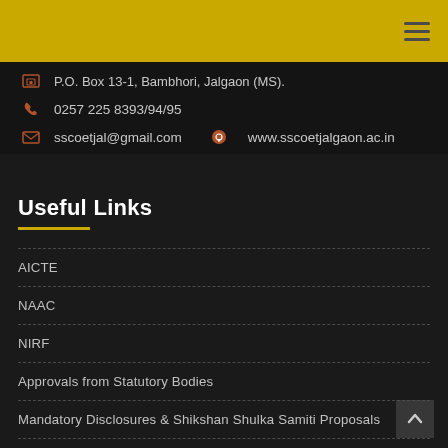P.O. Box 13-1, Bambhori, Jalgaon (MS).
0257 225 8393/94/95
sscoetjal@gmail.com   www.sscoetjalgaon.ac.in
Useful Links
AICTE
NAAC
NIRF
Approvals from Statutory Bodies
Mandatory Disclosures & Shikshan Shulka Samiti Proposals
Feedback System for Students and Faculty on AICTE Web Portal
ARIIA